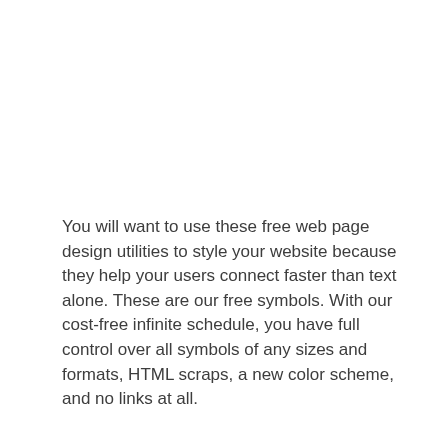You will want to use these free web page design utilities to style your website because they help your users connect faster than text alone. These are our free symbols. With our cost-free infinite schedule, you have full control over all symbols of any sizes and formats, HTML scraps, a new color scheme, and no links at all.